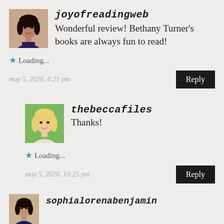[Figure (photo): Avatar photo of joyofreadingweb user — woman with dark hair]
joyofreadingweb
Wonderful review! Bethany Turner's books are always fun to read!
Loading...
may 5, 2020, 4:21 pm
Reply
[Figure (photo): Avatar photo of thebeccafiles user — woman with blonde hair outdoors]
thebeccafiles
Thanks!
Loading...
may 5, 2020, 10:25 pm
Reply
[Figure (photo): Avatar photo of sophialorenabenjamin user — woman with dark hair]
sophialorenabenjamin